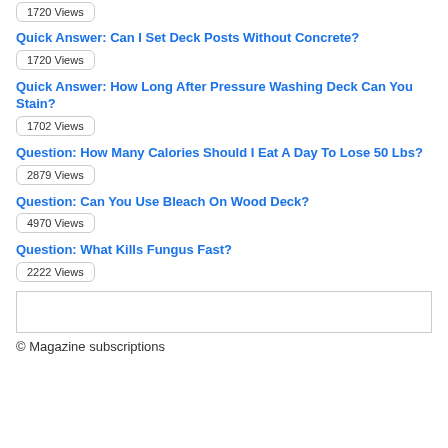1720 Views
Quick Answer: Can I Set Deck Posts Without Concrete?
1720 Views
Quick Answer: How Long After Pressure Washing Deck Can You Stain?
1702 Views
Question: How Many Calories Should I Eat A Day To Lose 50 Lbs?
2879 Views
Question: Can You Use Bleach On Wood Deck?
4970 Views
Question: What Kills Fungus Fast?
2222 Views
© Magazine subscriptions